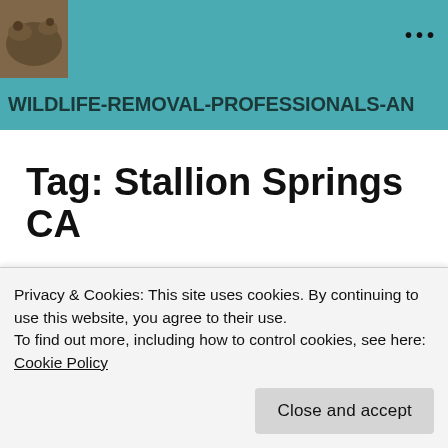[Figure (photo): Wildlife removal website header with animal photo thumbnail on left and teal background, three-dot menu icon on right]
WILDLIFE-REMOVAL-PROFESSIONALS-AN
Tag: Stallion Springs CA
[Figure (other): Teal circular button with horizontal lines/menu icon]
Privacy & Cookies: This site uses cookies. By continuing to use this website, you agree to their use.
To find out more, including how to control cookies, see here: Cookie Policy
Close and accept